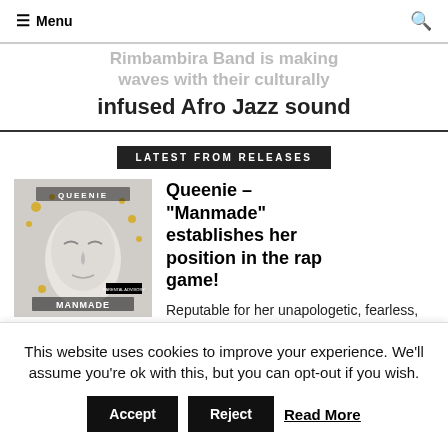Menu
Rimbambira Band is making waves with their culturally infused Afro Jazz sound
LATEST FROM RELEASES
[Figure (photo): Album cover for Queenie's Manmade — shows a face with closed eyes wearing a white mask with gold accents, text QUEENIE MANMADE at top]
Queenie – "Manmade" establishes her position in the rap game!
Reputable for her unapologetic, fearless, and empowering music,
This website uses cookies to improve your experience. We'll assume you're ok with this, but you can opt-out if you wish. Accept Reject Read More